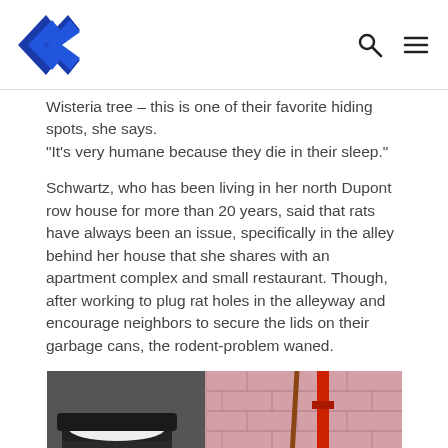[Logo] [Search icon] [Menu icon]
Wisteria tree – this is one of their favorite hiding spots, she says.
"It's very humane because they die in their sleep."
Schwartz, who has been living in her north Dupont row house for more than 20 years, said that rats have always been an issue, specifically in the alley behind her house that she shares with an apartment complex and small restaurant. Though, after working to plug rat holes in the alleyway and encourage neighbors to secure the lids on their garbage cans, the rodent-problem waned.
[Figure (photo): Black garbage/trash can next to a pink painted brick wall with a red pipe, in an alley setting.]